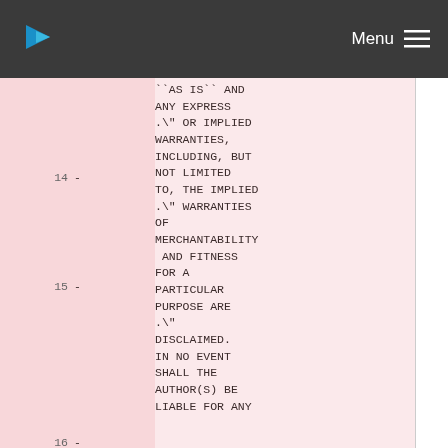Menu
``AS IS'' AND ANY EXPRESS
14 - .\" OR IMPLIED WARRANTIES, INCLUDING, BUT NOT LIMITED TO, THE IMPLIED
15 - .\" WARRANTIES OF MERCHANTABILITY  AND FITNESS FOR A PARTICULAR PURPOSE ARE
16 - .\" DISCLAIMED. IN NO EVENT SHALL THE AUTHOR(S) BE LIABLE FOR ANY